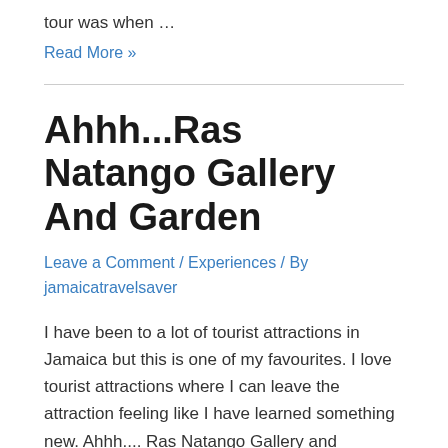tour was when …
Read More »
Ahhh...Ras Natango Gallery And Garden
Leave a Comment / Experiences / By jamaicatravelsaver
I have been to a lot of tourist attractions in Jamaica but this is one of my favourites. I love tourist attractions where I can leave the attraction feeling like I have learned something new. Ahhh.... Ras Natango Gallery and Gardens is an environmentalist's paradise encompassing a